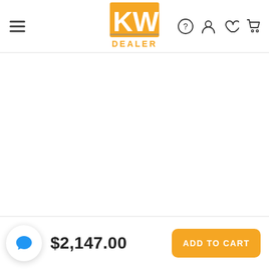[Figure (logo): KW Dealer logo in orange/yellow with stylized KW letters and DEALER text below]
$2,147.00
ADD TO CART